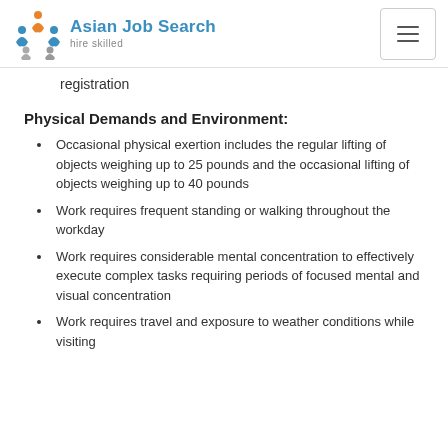Asian Job Search — hire skilled
registration
Physical Demands and Environment:
Occasional physical exertion includes the regular lifting of objects weighing up to 25 pounds and the occasional lifting of objects weighing up to 40 pounds
Work requires frequent standing or walking throughout the workday
Work requires considerable mental concentration to effectively execute complex tasks requiring periods of focused mental and visual concentration
Work requires travel and exposure to weather conditions while visiting